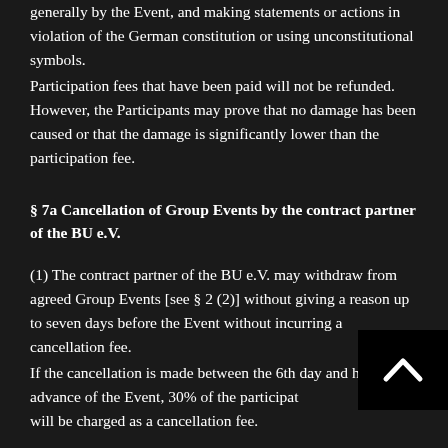generally by the Event, and making statements or actions in violation of the German constitution or using unconstitutional symbols.
Participation fees that have been paid will not be refunded. However, the Participants may prove that no damage has been caused or that the damage is significantly lower than the participation fee.
§ 7a Cancellation of Group Events by the contract partner of the BU e.V.
(1) The contract partner of the BU e.V. may withdraw from agreed Group Events [see § 2 (2)] without giving a reason up to seven days before the Event without incurring a cancellation fee.
If the cancellation is made between the 6th day and hours in advance of the Event, 30% of the participat will be charged as a cancellation fee.